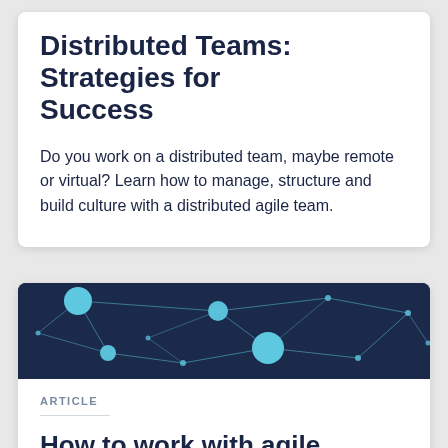Distributed Teams: Strategies for Success
Do you work on a distributed team, maybe remote or virtual? Learn how to manage, structure and build culture with a distributed agile team.
[Figure (illustration): Dark navy blue network graph illustration with teal/cyan nodes connected by lines on a dark background, representing distributed network connections.]
ARTICLE
How to work with agile specialists